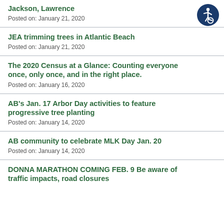Jackson, Lawrence
Posted on: January 21, 2020
JEA trimming trees in Atlantic Beach
Posted on: January 21, 2020
The 2020 Census at a Glance: Counting everyone once, only once, and in the right place.
Posted on: January 16, 2020
AB's Jan. 17 Arbor Day activities to feature progressive tree planting
Posted on: January 14, 2020
AB community to celebrate MLK Day Jan. 20
Posted on: January 14, 2020
DONNA MARATHON COMING FEB. 9 Be aware of traffic impacts, road closures